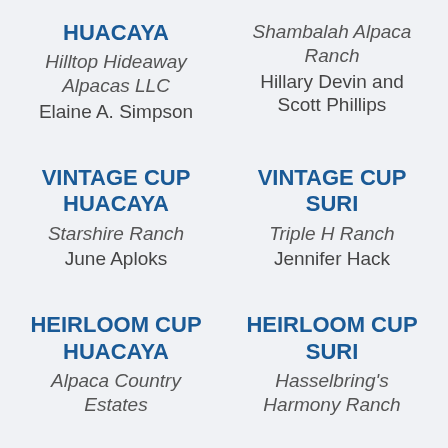HUACAYA
Hilltop Hideaway Alpacas LLC
Elaine A. Simpson
Shambalah Alpaca Ranch
Hillary Devin and Scott Phillips
VINTAGE CUP HUACAYA
Starshire Ranch
June Aploks
VINTAGE CUP SURI
Triple H Ranch
Jennifer Hack
HEIRLOOM CUP HUACAYA
Alpaca Country Estates
HEIRLOOM CUP SURI
Hasselbring's Harmony Ranch